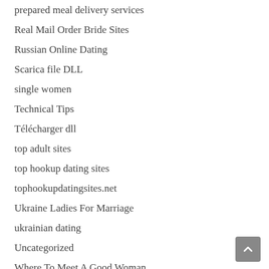prepared meal delivery services
Real Mail Order Bride Sites
Russian Online Dating
Scarica file DLL
single women
Technical Tips
Télécharger dll
top adult sites
top hookup dating sites
tophookupdatingsites.net
Ukraine Ladies For Marriage
ukrainian dating
Uncategorized
Where To Meet A Good Woman
wife
Wife From Russia
Windows Controladores
Windows Drivere
Windows Drivers Update